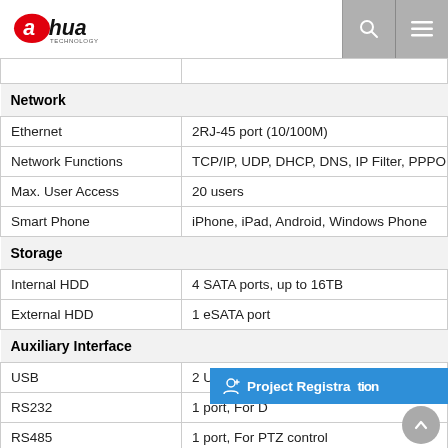Dahua Technology
| Feature | Value |
| --- | --- |
| Network |  |
| Ethernet | 2RJ-45 port (10/100M) |
| Network Functions | TCP/IP, UDP, DHCP, DNS, IP Filter, PPPOE, |
| Max. User Access | 20 users |
| Smart Phone | iPhone, iPad, Android, Windows Phone |
| Storage |  |
| Internal HDD | 4 SATA ports, up to 16TB |
| External HDD | 1 eSATA port |
| Auxiliary Interface |  |
| USB | 2 USB2.0 |
| RS232 | 1 port, For D… |
| RS485 | 1 port, For PTZ control |
| General |  |